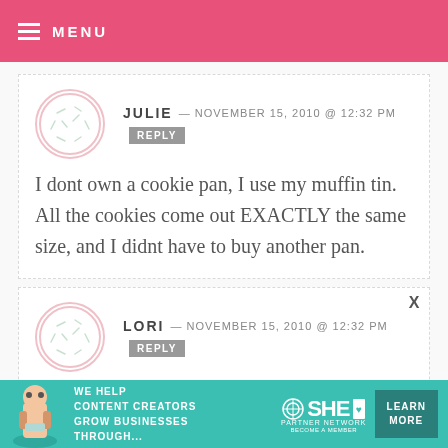MENU
JULIE — NOVEMBER 15, 2010 @ 12:32 PM REPLY
I dont own a cookie pan, I use my muffin tin. All the cookies come out EXACTLY the same size, and I didnt have to buy another pan.
LORI — NOVEMBER 15, 2010 @ 12:32 PM REPLY
I recently went through all my bowls (many) in my kitchen and got rid of
[Figure (infographic): SHE partner network advertisement banner — content creators grow businesses]